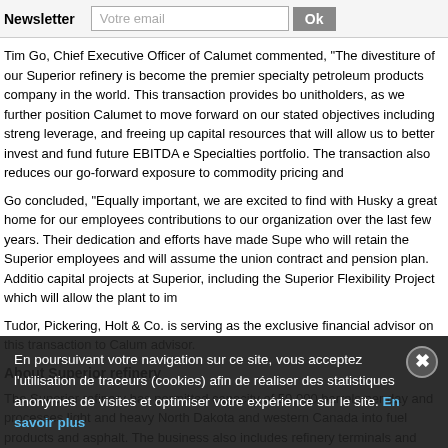Newsletter  Votre email  Ok
Tim Go, Chief Executive Officer of Calumet commented, "The divestiture of our Superior refinery is become the premier specialty petroleum products company in the world. This transaction provides bo unitholders, as we further position Calumet to move forward on our stated objectives including streng leverage, and freeing up capital resources that will allow us to better invest and fund future EBITDA e Specialties portfolio. The transaction also reduces our go-forward exposure to commodity pricing and
Go concluded, "Equally important, we are excited to find with Husky a great home for our employees contributions to our organization over the last few years. Their dedication and efforts have made Supe who will retain the Superior employees and will assume the union contract and pension plan. Additio capital projects at Superior, including the Superior Flexibility Project which will allow the plant to im
Tudor, Pickering, Holt & Co. is serving as the exclusive financial advisor on this transaction to Calum advisor.
About Superior refinery
The Superior refinery has permitted capacity of 50,000 barrels per day and processes light and heavy North Dakota and western Canada into fuel products and asphalt. The business also includes refinery terminals and truck racks, an offsite product terminal and truck rack, a marine terminal, a pipeline co
gathering assets in North Dakota, and certain fee logistic assets. The Superior refinery has be
About Calumet
En poursuivant votre navigation sur ce site, vous acceptez l'utilisation de traceurs (cookies) afin de réaliser des statistiques anonymes de visites et optimiser votre expérience sur le site. En savoir plus